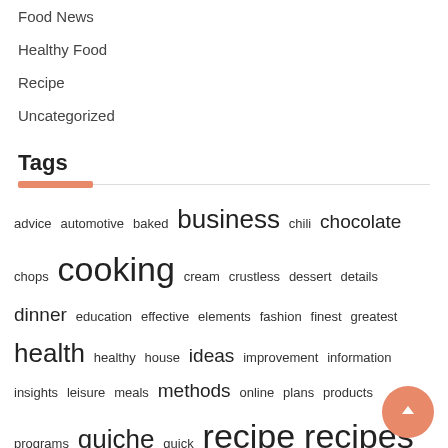Food News
Healthy Food
Recipe
Uncategorized
Tags
advice automotive baked business chili chocolate chops cooking cream crustless dessert details dinner education effective elements fashion finest greatest health healthy house ideas improvement information insights leisure meals methods online plans products programs quiche quick recipe recipes salmon secrets simple solutions